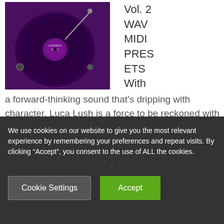[Figure (photo): Purple-toned vinyl record turntable with LUSHBOX VOL. 2 label, close-up showing record and tonearm]
Vol. 2
WAV
MIDI
PRESETS
With
a forward-thinking sound that's dripping with character, Luca Lush is a force to be reckoned with in Future Bass and beyond. He's gained support from some of the hottest electronic artists out there –
We use cookies on our website to give you the most relevant experience by remembering your preferences and repeat visits. By clicking “Accept”, you consent to the use of ALL the cookies.
Cookie Settings
Accept